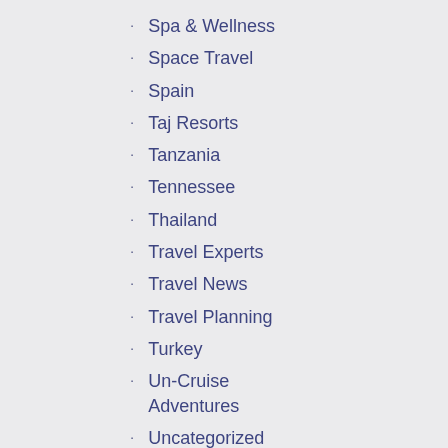Spa & Wellness
Space Travel
Spain
Taj Resorts
Tanzania
Tennessee
Thailand
Travel Experts
Travel News
Travel Planning
Turkey
Un-Cruise Adventures
Uncategorized
Underwater Travel
United States
Uruguay
Venezuela